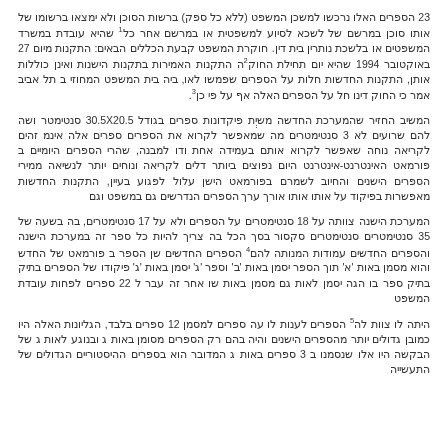23 [Hebrew text paragraph 1 with superscripts 1, 2, 3]
[Hebrew text paragraph 2 with 30.5X20.5 and 3 mentioned]
[Hebrew text paragraph 3 with 18, 17, 35, 22 mentioned and superscript 4]
[Hebrew text paragraph 4 with 12 mentioned and superscript 5]